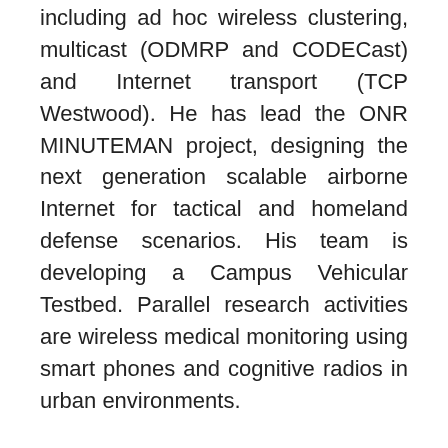including ad hoc wireless clustering, multicast (ODMRP and CODECast) and Internet transport (TCP Westwood). He has lead the ONR MINUTEMAN project, designing the next generation scalable airborne Internet for tactical and homeland defense scenarios. His team is developing a Campus Vehicular Testbed. Parallel research activities are wireless medical monitoring using smart phones and cognitive radios in urban environments.
He is active in the organization of conferences and workshops, including MedHocNet and WONS. He serves on the IEEE TON Scientific Advisory Board. He became IEEE Fellow in 2002, was recently recognized with the MILCOM Technical Contribution Award in 2011, the IEEE